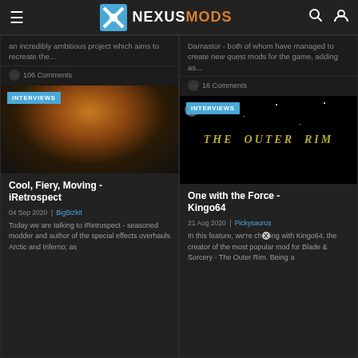NEXUSMODS
an incredibly ambitious project which aims to recreate the...
106 Comments
Damastor - both of whom have managed to create new quest mods for the game, adding as...
16 Comments
[Figure (photo): Fire and trees explosion effect - Arctic/Inferno mod screenshot]
INTERVIEWS
Cool, Fiery, Moving - iRetrospect
04 Sep 2020  | BigBizkit
Today we are talking to iRetrospect - seasoned modder and author of the special effects overhauls Arctic and Inferno; as
[Figure (photo): The Outer Rim text logo on dark starfield background]
INTERVIEWS
One with the Force - Kingo64
21 Aug 2020  | Pickysaurus
In this feature, we're chatting with Kingo64, the creator of the most popular mod for Blade & Sorcery - The Outer Rim. Being a